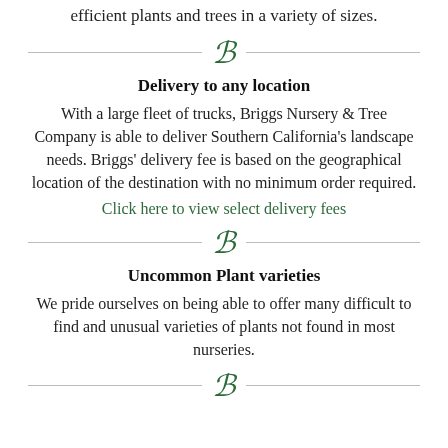efficient plants and trees in a variety of sizes.
[Figure (illustration): Decorative green italic B logo with horizontal divider lines on each side]
Delivery to any location
With a large fleet of trucks, Briggs Nursery & Tree Company is able to deliver Southern California's landscape needs. Briggs' delivery fee is based on the geographical location of the destination with no minimum order required.
Click here to view select delivery fees
[Figure (illustration): Decorative green italic B logo with horizontal divider lines on each side]
Uncommon Plant varieties
We pride ourselves on being able to offer many difficult to find and unusual varieties of plants not found in most nurseries.
[Figure (illustration): Decorative green italic B logo with horizontal divider lines on each side (partially visible at bottom)]